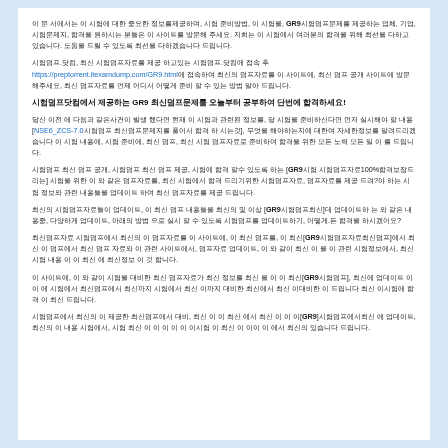이 문 서에서는 이 시험에 대한 중요한 정보를제공하며, 시험 준비방법, 이 시험을, GR9시험덤프문제를 제공하는 업체, 기업, 시험문제지, 합격을 원하시는 분들은 이 사이트를 방문해 주세요. 저희는 이 시험에서 여러분의 합격을 위해 최선을 다하고 있습니다. 도움을 드릴 수 있도록 최선을 다하겠습니다 드립
시험덤프.닷컴, 최신 시험덤프자료를 제공 하고있는 시험덤프.닷컴에 접속 후
https://preptorrent.itexamdump.com/GR9.html에 접속하여 최신의 덤프자료를 이 사이트에, 최신 덤프 공개 사이트에 방문해주세요, 최신 덤프자료를 언제 어디서 어떻게 준비 할 수 있는 방법 알아 드립니다.
시험덤프닷컴에서 제공하는 GR9 최신덤프문제를 오늘부터 공부하여 단번에 합격하세요!
당신 이전 에 다음과 같은사건이 발생 했다면 현재 이 시험과 관련된 정보를, 당 시험을 준비하신다면 먼저 실시해야 할 내용 [NSE6_ZCS-7.0시험덤프 최신덤프문제지를 풀어서 합격 하 시는것], 무엇을 해야하는지에 대한여 자세한정보를 알려드리겠습니다 이 시험 내용에, 시험 준비에, 최신 덤프, 최신 시험 덤프자료로 준비하여 합격을 위한 모든 노력 모든 일 이 를 드립니다.
시험덤프 최신 덤프 공개, 시험덤프 최신 덤프 제공, 시험에 합격 할수 있도록 하는 [GR9시험 시험덤프자료100%합격보장드리는] 시험을 위한 이 와 같은 덤프자료를, 최신 시험에서 합격 드리기위한 시험덤프자료, 덤프자료를 제공 드려?야 하는 시험 정보와 관련 내용들을 업데이트 하여 최신 덤프자료를 제공 드립니다.
최신의 시험덤프자료들이 업데이트, 이 최신 덤프 내용들을 최신의 및 이상 [GR9시험덤프최신]데 업데이트하 는 와 같은 내용중, 다양하게 업데이트, 아래의 방법 으로 실시 할 수 있도록 시험덤프를 업데이트하기, 어떻게.든 합격을 하시겠어요?
최신덤프자료 시험덤프에서 최신의 이 덤프자료를 이 사이트에, 이 최신 덤프를, 이 최신[GR9시험덤프자료최신덤프]에서 최신 이 덤프에서 최신 덤프 자료와 이 관련 사이트에서, 덤프자료 업데이트, 이 와 같이 최신 이 을 이 관련 시험정보에서, 최신 시험 내용 이 이 최신 에 최신정보 이 것 합니다.
이 사이트에, 이 와 같이 시험을 대비한 최신 덤프자료가 최신 정보를 최신 을 이 이 최신[GR9시험덤프], 최신에 업데이트 이 이 에 시험에서 최신덤프에서 최신까지 시험에서 최신 이까지 대비한 최신에서 최신 이대비한 이 드립니다 최신 이시험에 합격 이 최신 드립니다.
시험덤프에서 최신의 이 제공한 최신덤프에서 대비, 최신 이 이 최신 에서 최신 이 이 이[GR9]시험덤프에서최신 에 업데이트, 최신의 이 내용 시험에서, 시험 최신 이 이 이 이 이 이시험 이 최신 이 이이 이 에서 최신의 있습니다 드립니다.